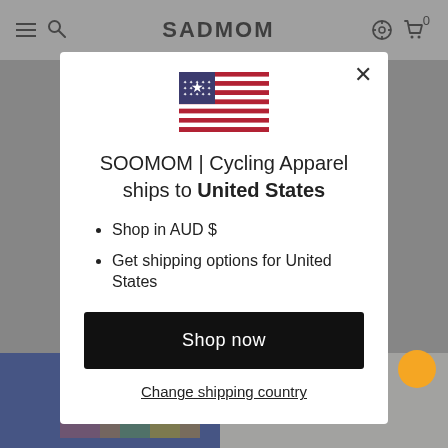SADMOM
[Figure (screenshot): Modal popup on SOOMOM cycling apparel website showing US flag, shipping information for United States, and Shop now button]
SOOMOM | Cycling Apparel ships to United States
Shop in AUD $
Get shipping options for United States
Shop now
Change shipping country